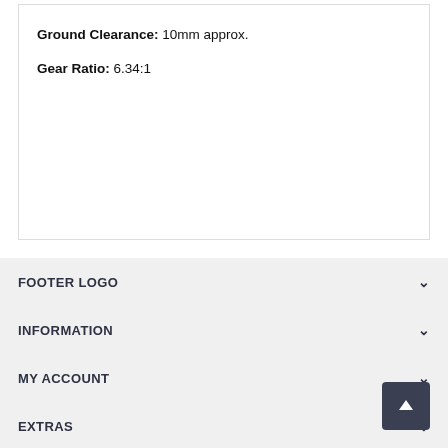Ground Clearance: 10mm approx.
Gear Ratio: 6.34:1
FOOTER LOGO
INFORMATION
MY ACCOUNT
EXTRAS